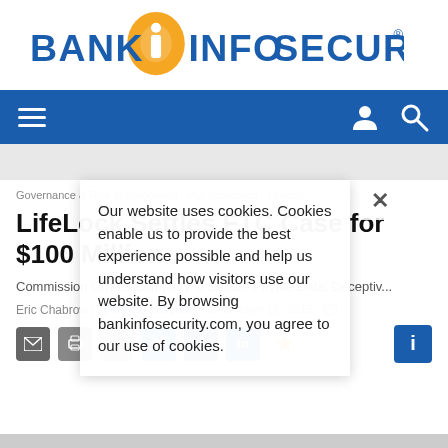[Figure (logo): BankInfoSecurity logo with golden 'i' icon and blue text]
[Figure (screenshot): Blue navigation bar with hamburger menu, user icon, and search icon]
[Figure (screenshot): Gray advertisement/spacer band]
Governance & Risk Management  PCI Standards  Privacy
LifeLock Settles FTC Case for $100 Million
Commission Orders Company to Secure Private Data, Deceptiv...
Eric Chabrow | @eHackurSecurity | December 18, 2015
[Figure (screenshot): Share icons row: email, print, comment, Twitter, Facebook, LinkedIn, star/bookmark, info]
Our website uses cookies. Cookies enable us to provide the best experience possible and help us understand how visitors use our website. By browsing bankinfosecurity.com, you agree to our use of cookies.